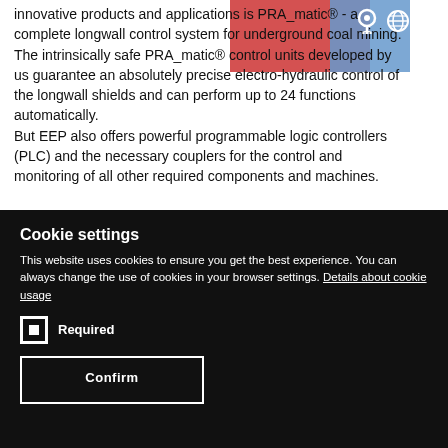innovative products and applications is PRA_matic® - a complete longwall control system for underground coal mining. The intrinsically safe PRA_matic® control units developed by us guarantee an absolutely precise electro-hydraulic control of the longwall shields and can perform up to 24 functions automatically. But EEP also offers powerful programmable logic controllers (PLC) and the necessary couplers for the control and monitoring of all other required components and machines.
Cookie settings
This website uses cookies to ensure you get the best experience. You can always change the use of cookies in your browser settings. Details about cookie usage
Required
Confirm